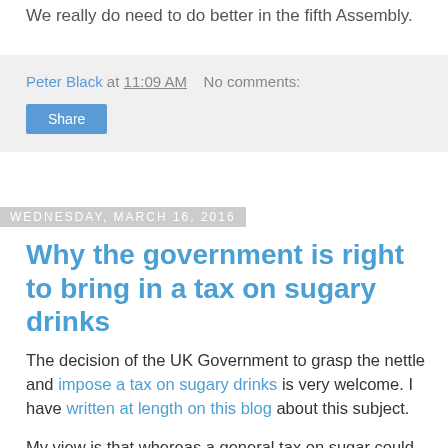We really do need to do better in the fifth Assembly.
Peter Black at 11:09 AM   No comments:
Share
Wednesday, March 16, 2016
Why the government is right to bring in a tax on sugary drinks
The decision of the UK Government to grasp the nettle and impose a tax on sugary drinks is very welcome. I have written at length on this blog about this subject.
My view is that whereas a general tax on sugar could be damaging and hit poorer people because so many processed foods are full of the stuff, the evidence is there to try and force drinks companies to reduce the sugar content in their drinks.